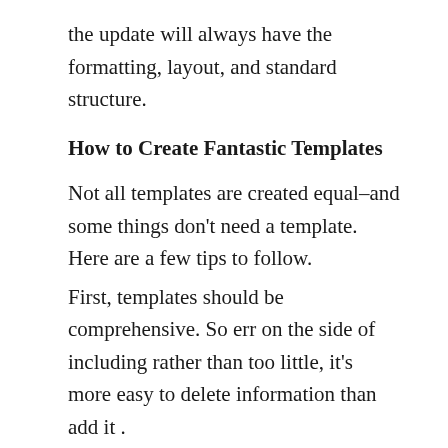the update will always have the formatting, layout, and standard structure.
How to Create Fantastic Templates
Not all templates are created equal–and some things don't need a template. Here are a few tips to follow.
First, templates should be comprehensive. So err on the side of including rather than too little, it's more easy to delete information than add it .
Imagine you're creating a template of your own resume. You would want to list in-depth details about your responsibilities and achievements